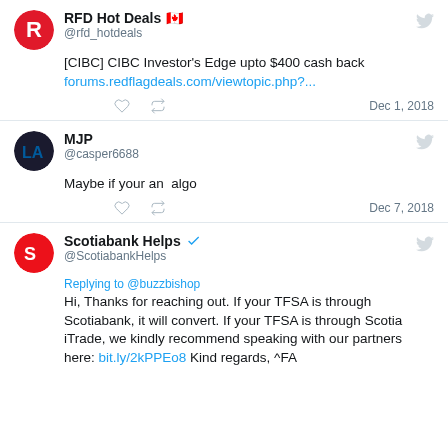[Figure (screenshot): Tweet from RFD Hot Deals with Canadian flag emoji, username @rfd_hotdeals, text about CIBC Investor's Edge cash back, link to forums.redflagdeals.com, dated Dec 1, 2018]
[Figure (screenshot): Tweet from MJP, username @casper6688, text: Maybe if your an algo, dated Dec 7, 2018]
[Figure (screenshot): Tweet from Scotiabank Helps (verified), username @ScotiabankHelps, replying to @buzzbishop, text about TFSA conversion through Scotiabank and Scotia iTrade with link bit.ly/2kPPEo8]